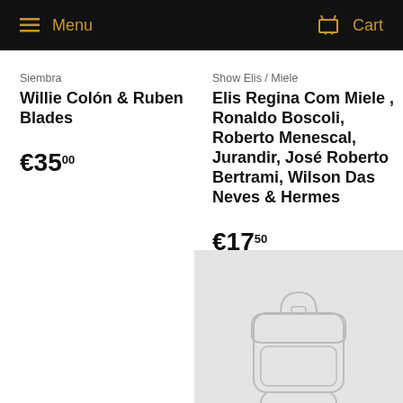Menu  Cart
Siembra
Willie Colón & Ruben Blades
€35.00
Show Elis / Miele
Elis Regina Com Miele , Ronaldo Boscoli, Roberto Menescal, Jurandir, José Roberto Bertrami, Wilson Das Neves & Hermes
€17.50
[Figure (illustration): Product image placeholder showing a backpack outline drawing on a grey background]